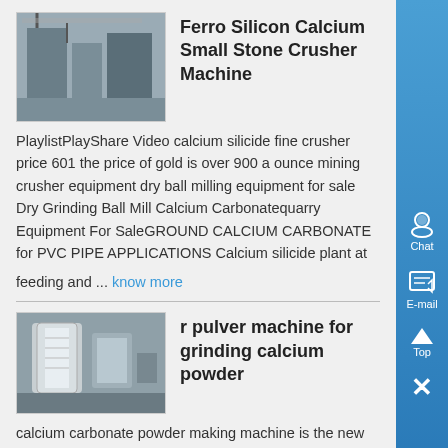Ferro Silicon Calcium Small Stone Crusher Machine
PlaylistPlayShare Video calcium silicide fine crusher price 601 the price of gold is over 900 a ounce mining crusher equipment dry ball milling equipment for sale Dry Grinding Ball Mill Calcium Carbonatequarry Equipment For SaleGROUND CALCIUM CARBONATE for PVC PIPE APPLICATIONS Calcium silicide plant at
feeding and ... know more
r pulver machine for grinding calcium powder
calcium carbonate powder making machine is the new type mining equipment for making micro powders fine powderswhich is widely applied in